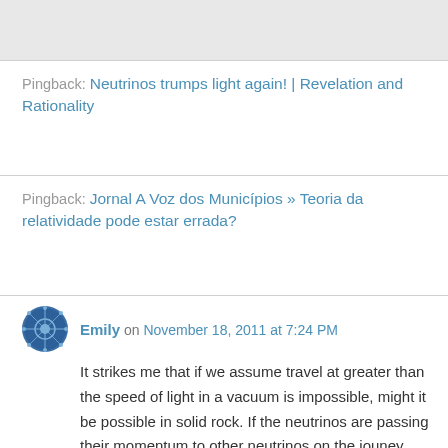[Figure (other): Gray bar at top of page, partial content from previous section]
Pingback: Neutrinos trumps light again! | Revelation and Rationality
Pingback: Jornal A Voz dos Municípios » Teoria da relatividade pode estar errada?
Emily on November 18, 2011 at 7:24 PM
It strikes me that if we assume travel at greater than the speed of light in a vacuum is impossible, might it be possible in solid rock. If the neutrinos are passing their momentum to other neutrinos on the jouney they could plausibly travel at any speed, much like hitting a